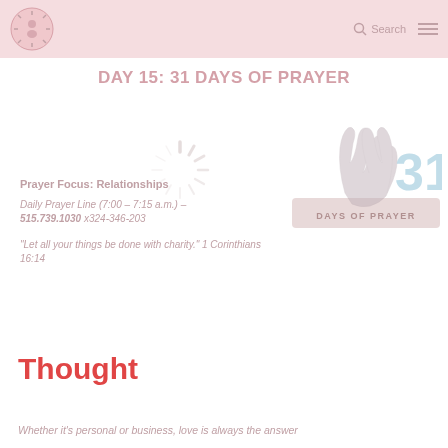DAY 15: 31 DAYS OF PRAYER
DAY 15: 31 DAYS OF PRAYER
Prayer Focus: Relationships
Daily Prayer Line (7:00 – 7:15 a.m.) – 515.739.1030 x324-346-203
“Let all your things be done with charity.”  1 Corinthians 16:14
[Figure (logo): 31 Days of Prayer logo with praying hands]
[Figure (other): Loading spinner/indicator circle]
Thought
Whether it’s personal or business, love is always the answer